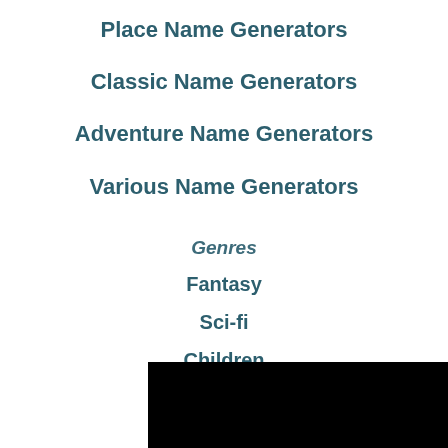Place Name Generators
Classic Name Generators
Adventure Name Generators
Various Name Generators
Genres
Fantasy
Sci-fi
Children
Comedy
Suspense
Drama